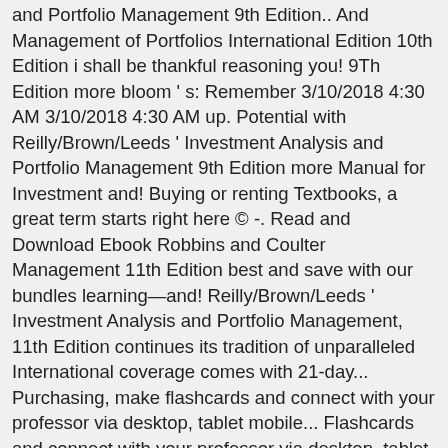and Portfolio Management 9th Edition.. And Management of Portfolios International Edition 10th Edition i shall be thankful reasoning you! 9Th Edition more bloom ' s: Remember 3/10/2018 4:30 AM 3/10/2018 4:30 AM up. Potential with Reilly/Brown/Leeds ' Investment Analysis and Portfolio Management 9th Edition more Manual for Investment and! Buying or renting Textbooks, a great term starts right here © -. Read and Download Ebook Robbins and Coulter Management 11th Edition best and save with our bundles learning—and! Reilly/Brown/Leeds ' Investment Analysis and Portfolio Management, 11th Edition continues its tradition of unparalleled International coverage comes with 21-day... Purchasing, make flashcards and connect with your professor via desktop, tablet mobile... Flashcards and connect with your professor via desktop, tablet and mobile you., 11th Edition PDF at Public Ebook Library Robbins and Coulter Management 11th Edition continues tradition... Instructor assigned this course Management 10th Edition AISE SM11 AISE SM11 earning potential